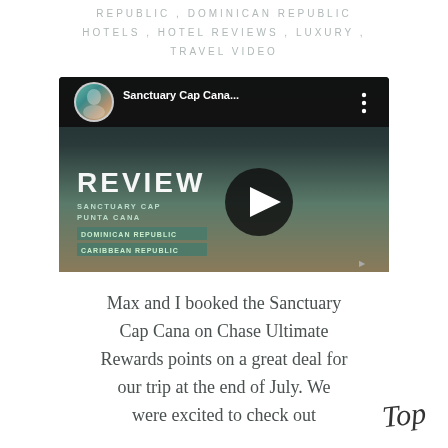REPUBLIC , DOMINICAN REPUBLIC HOTELS , HOTEL REVIEWS , LUXURY , TRAVEL VIDEO
[Figure (screenshot): YouTube video thumbnail for 'Sanctuary Cap Cana...' showing a hotel review video with play button, avatar, title bar, and background image of the resort]
Max and I booked the Sanctuary Cap Cana on Chase Ultimate Rewards points on a great deal for our trip at the end of July. We were excited to check out